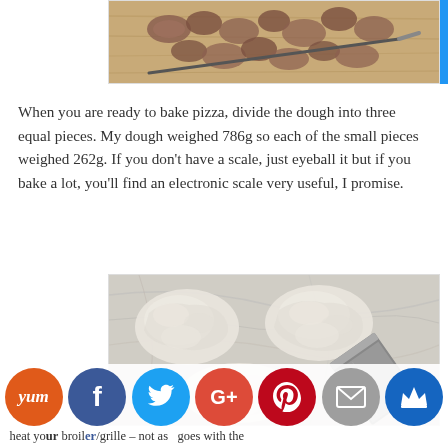[Figure (photo): Sliced mushrooms on a wooden cutting board with a knife]
When you are ready to bake pizza, divide the dough into three equal pieces. My dough weighed 786g so each of the small pieces weighed 262g. If you don't have a scale, just eyeball it but if you bake a lot, you'll find an electronic scale very useful, I promise.
[Figure (photo): Three pieces of divided pizza dough on a marble surface next to a metal bench scraper]
heat your broiler/grille – not as goes with the